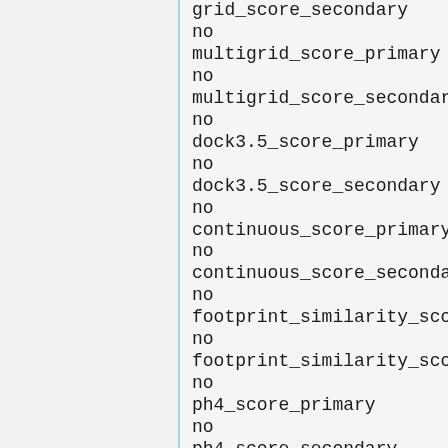grid_score_secondary
no
multigrid_score_primary
no
multigrid_score_secondary
no
dock3.5_score_primary
no
dock3.5_score_secondary
no
continuous_score_primary
no
continuous_score_secondary
no
footprint_similarity_score_primary
no
footprint_similarity_score_secondary
no
ph4_score_primary
no
ph4_score_secondary
no
descriptor_score_primary
yes
descriptor_score_secondary